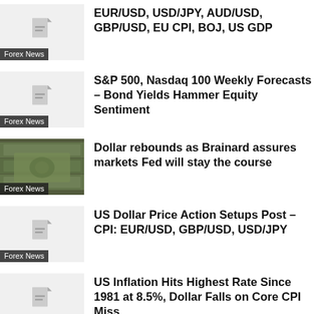EUR/USD, USD/JPY, AUD/USD, GBP/USD, EU CPI, BOJ, US GDP
S&P 500, Nasdaq 100 Weekly Forecasts – Bond Yields Hammer Equity Sentiment
Dollar rebounds as Brainard assures markets Fed will stay the course
US Dollar Price Action Setups Post – CPI: EUR/USD, GBP/USD, USD/JPY
US Inflation Hits Highest Rate Since 1981 at 8.5%, Dollar Falls on Core CPI Miss